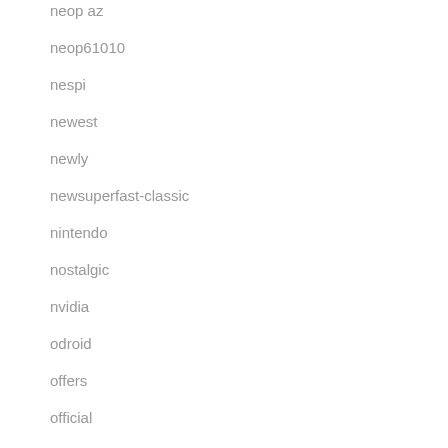neop az
neop61010
nespi
newest
newly
newsuperfast-classic
nintendo
nostalgic
nvidia
odroid
offers
official
only
ordered
original
ossc